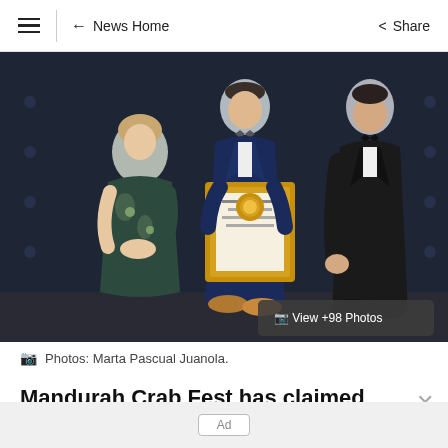≡  ← News Home  Share
[Figure (photo): Three people posed at an award ceremony. A woman in a floral dress on the left, a man in a navy suit holding a framed award certificate in the center, and a man in a black tuxedo on the right. A 'View +98 Photos' button overlay is visible in the bottom right of the image.]
Photos: Marta Pascual Juanola.
Mandurah Crab Fest has claimed best major
Ad